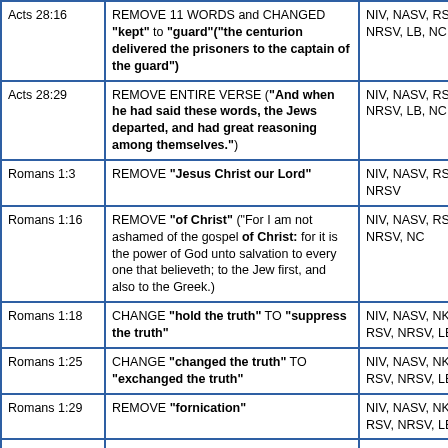| Reference | Change | Versions |
| --- | --- | --- |
| Acts 28:16 | REMOVE 11 WORDS and CHANGED "kept" to "guard"("the centurion delivered the prisoners to the captain of the guard") | NIV, NASV, RSV, NRSV, LB, NC |
| Acts 28:29 | REMOVE ENTIRE VERSE ("And when he had said these words, the Jews departed, and had great reasoning among themselves.") | NIV, NASV, RSV, NRSV, LB, NC |
| Romans 1:3 | REMOVE "Jesus Christ our Lord" | NIV, NASV, RSV, NRSV |
| Romans 1:16 | REMOVE "of Christ" ("For I am not ashamed of the gospel of Christ: for it is the power of God unto salvation to every one that believeth; to the Jew first, and also to the Greek.) | NIV, NASV, RSV, NRSV, NC |
| Romans 1:18 | CHANGE "hold the truth" TO "suppress the truth" | NIV, NASV, NKJ, RSV, NRSV, LB, NC |
| Romans 1:25 | CHANGE "changed the truth" TO "exchanged the truth" | NIV, NASV, NKJ, RSV, NRSV, LB, NC |
| Romans 1:29 | REMOVE "fornication" | NIV, NASV, NKJ, RSV, NRSV, LB, NC |
| Romans 5:8 | CHANGE "commendeth" to "demonstrates" | NIV, NASV, NKJ, RSV, |